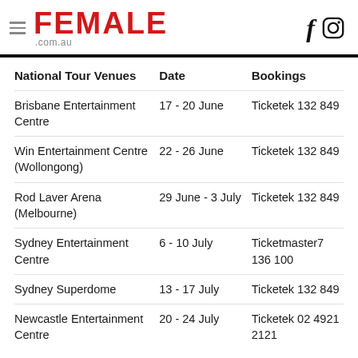≡ FEMALE .com.au
| National Tour Venues | Date | Bookings |
| --- | --- | --- |
| Brisbane Entertainment Centre | 17 - 20 June | Ticketek 132 849 |
| Win Entertainment Centre (Wollongong) | 22 - 26 June | Ticketek 132 849 |
| Rod Laver Arena (Melbourne) | 29 June - 3 July | Ticketek 132 849 |
| Sydney Entertainment Centre | 6 - 10 July | Ticketmaster7 136 100 |
| Sydney Superdome | 13 - 17 July | Ticketek 132 849 |
| Newcastle Entertainment Centre | 20 - 24 July | Ticketek 02 4921 2121 |